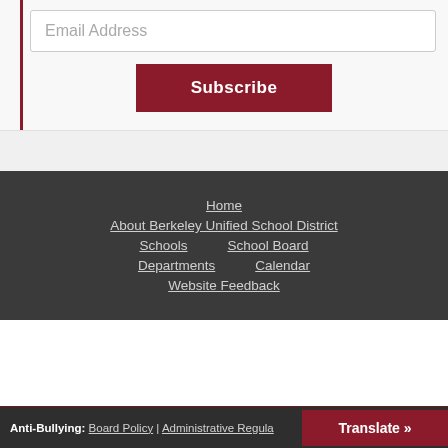Email Address
Subscribe
Home | About Berkeley Unified School District | Schools | School Board | Departments | Calendar | Website Feedback
Anti-Bullying: Board Policy | Administrative Regula... | Translate »